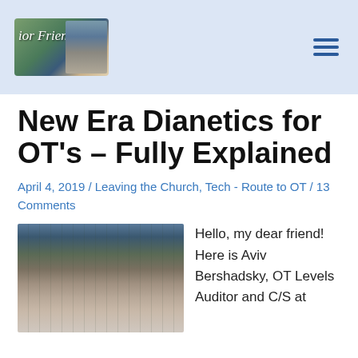Senior Friends
New Era Dianetics for OT's – Fully Explained
April 4, 2019 / Leaving the Church, Tech - Route to OT / 13 Comments
[Figure (photo): Photo of Aviv Bershadsky in front of bookshelves]
Hello, my dear friend! Here is Aviv Bershadsky, OT Levels Auditor and C/S at